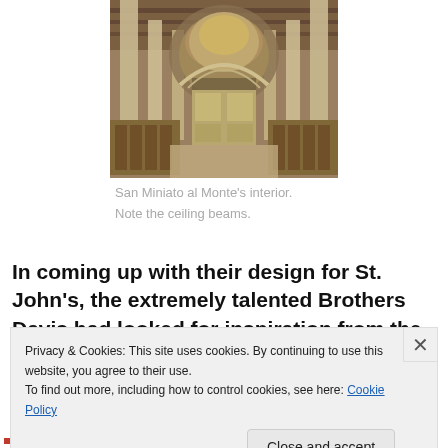[Figure (photo): Interior of San Miniato al Monte church showing nave, arches, columns, decorated ceiling beams, apse with mosaics, and wooden choir stalls]
San Miniato al Monte's interior.
Note the ceiling beams.
In coming up with their design for St. John's, the extremely talented Brothers Davis had looked for inspiration from the
Privacy & Cookies: This site uses cookies. By continuing to use this website, you agree to their use.
To find out more, including how to control cookies, see here: Cookie Policy
Close and accept